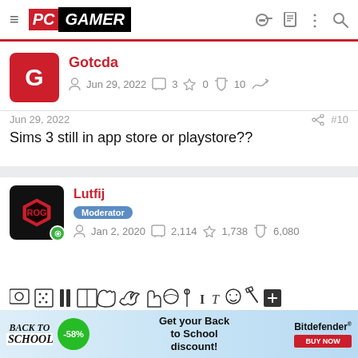PC GAMER
Gotcda
Jun 29, 2022   3   0   10
Jun 29, 2022   #10
Sims 3 still in app store or playstore??
Lutfij
Moderator
Jan 2, 2020   2,114   1,738   6,080
[Figure (screenshot): Moderator toolbar with editing and moderation icons]
[Figure (infographic): Back to School advertisement for Bitdefender with -58% discount]